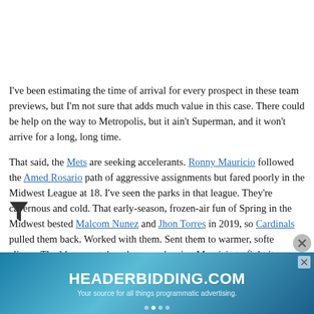I've been estimating the time of arrival for every prospect in these team previews, but I'm not sure that adds much value in this case. There could be help on the way to Metropolis, but it ain't Superman, and it won't arrive for a long, long time.
That said, the Mets are seeking accelerants. Ronny Mauricio followed the Amed Rosario path of aggressive assignments but fared poorly in the Midwest League at 18. I've seen the parks in that league. They're cavernous and cold. That early-season, frozen-air fun of Spring in the Midwest bested Malcom Nunez and Jhon Torres in 2019, so Cardinals pulled them back. Worked with them. Sent them to warmer, softer climes. The Mets went the other way, leaving Mauricio to fight it out...
[Figure (other): Advertisement banner for HEADERBIDDING.COM with text 'Your source for all things programmatic advertising.' on a blue gradient background.]